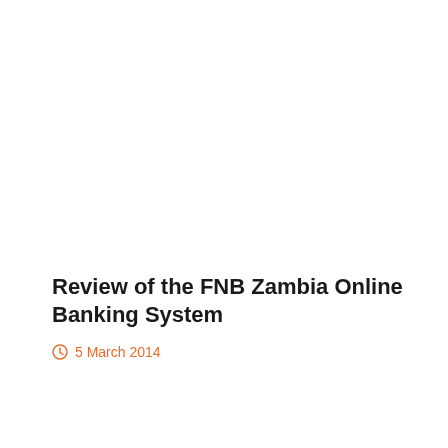Review of the FNB Zambia Online Banking System
5 March 2014